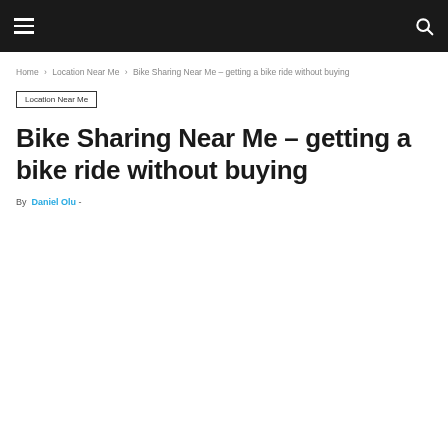[Navigation bar with hamburger menu and search icon]
Home › Location Near Me › Bike Sharing Near Me – getting a bike ride without buying
Location Near Me
Bike Sharing Near Me – getting a bike ride without buying
By Daniel Olu -